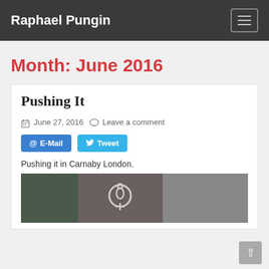Raphael Pungin
Month: June 2016
Pushing It
June 27, 2016   Leave a comment
@ E-Mail   Tweet
Pushing it in Carnaby London.
[Figure (photo): Street photos from Carnaby London, showing storefronts and a street scene]